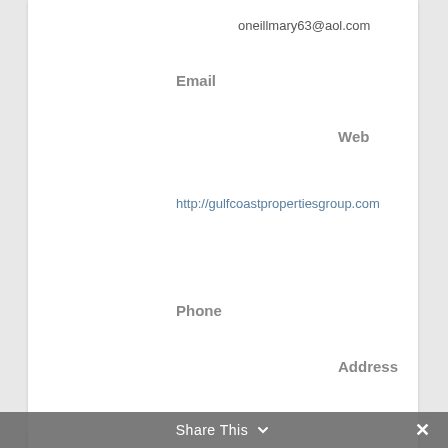oneillmary63@aol.com
Email
Web
http://gulfcoastpropertiesgroup.com
Phone
Address
[Figure (photo): Circular headshot photo of a smiling man with a light blue shirt]
Share This